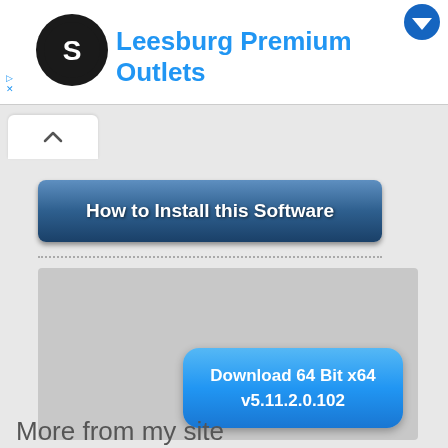[Figure (screenshot): Ad banner for Leesburg Premium Outlets with circular logo icon and blue Facebook-style corner icon]
Leesburg Premium Outlets
[Figure (screenshot): Blue gradient button labeled 'How to Install this Software']
[Figure (screenshot): Gray download box containing a blue rounded button with text 'Download 64 Bit x64 v5.11.2.0.102']
Password 123
More from my site